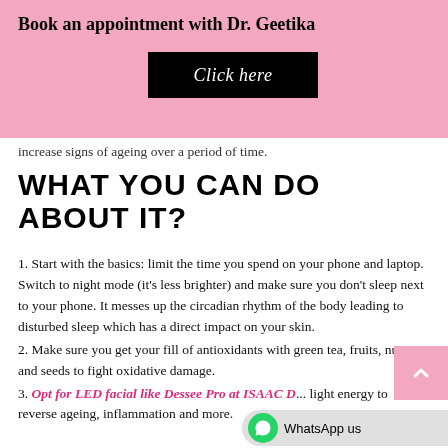Book an appointment with Dr. Geetika
[Figure (other): Black button with italic white text 'Click here']
increase signs of ageing over a period of time.
WHAT YOU CAN DO ABOUT IT?
1. Start with the basics: limit the time you spend on your phone and laptop. Switch to night mode (it’s less brighter) and make sure you don’t sleep next to your phone. It messes up the circadian rhythm of the body leading to disturbed sleep which has a direct impact on your skin.
2. Make sure you get your fill of antioxidants with green tea, fruits, nuts, and seeds to fight oxidative damage.
3. Opt for LED facial like Dessee Pro at ISAAC D... light energy to reverse ageing, inflammation and more.